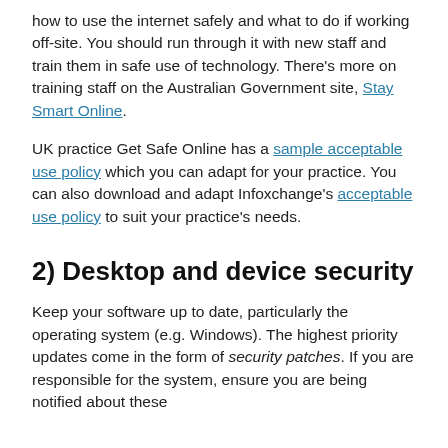how to use the internet safely and what to do if working off-site. You should run through it with new staff and train them in safe use of technology. There's more on training staff on the Australian Government site, Stay Smart Online.
UK practice Get Safe Online has a sample acceptable use policy which you can adapt for your practice. You can also download and adapt Infoxchange's acceptable use policy to suit your practice's needs.
2) Desktop and device security
Keep your software up to date, particularly the operating system (e.g. Windows). The highest priority updates come in the form of security patches. If you are responsible for the system, ensure you are being notified about these